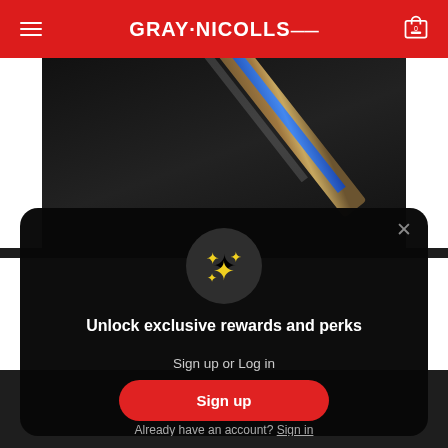GRAY-NICOLLS
[Figure (screenshot): Dark background product image showing a cricket bat diagonally positioned against a black background]
[Figure (infographic): Modal popup with sparkle emoji icon, title 'Unlock exclusive rewards and perks', subtitle 'Sign up or Log in', a red Sign up button, and a 'Already have an account? Sign in' link]